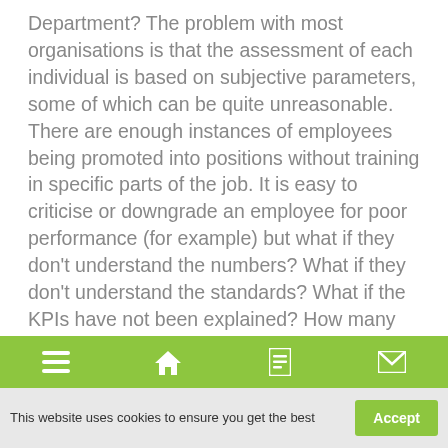Department? The problem with most organisations is that the assessment of each individual is based on subjective parameters, some of which can be quite unreasonable. There are enough instances of employees being promoted into positions without training in specific parts of the job. It is easy to criticise or downgrade an employee for poor performance (for example) but what if they don't understand the numbers? What if they don't understand the standards? What if the KPIs have not been explained? How many times have we heard the expression: 'He was a really good Operator, not sure what happened to him after he was promoted'?
[Figure (other): Green navigation bottom bar with four icons: hamburger menu, home, list/document, envelope/mail]
This website uses cookies to ensure you get the best